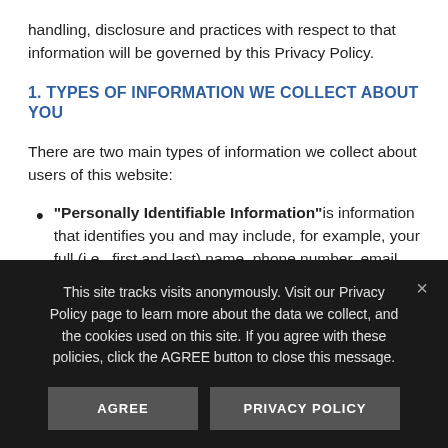handling, disclosure and practices with respect to that information will be governed by this Privacy Policy.
1. TYPES OF INFORMATION WE COLLECT ABOUT YOU
There are two main types of information we collect about users of this website:
"Personally Identifiable Information" is information that identifies you and may include, for example, your full (i.e., first and last) name, phone number, email address, postal address, job title, facility/company name, specialty, and
This site tracks visits anonymously. Visit our Privacy Policy page to learn more about the data we collect, and the cookies used on this site. If you agree with these policies, click the AGREE button to close this message.